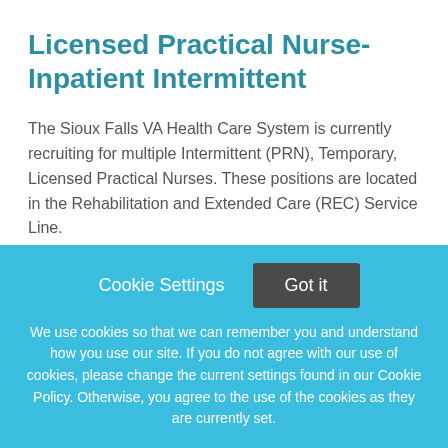Licensed Practical Nurse- Inpatient Intermittent
The Sioux Falls VA Health Care System is currently recruiting for multiple Intermittent (PRN), Temporary, Licensed Practical Nurses. These positions are located in the Rehabilitation and Extended Care (REC) Service Line.
This job listing is no longer active.
Cookie Settings  Got it
We use cookies so that we can remember you and understand how you use our site. If you do not agree with our use of cookies, please change the current settings found in our Cookie Policy. Otherwise, you agree to the use of the cookies as they are currently set.